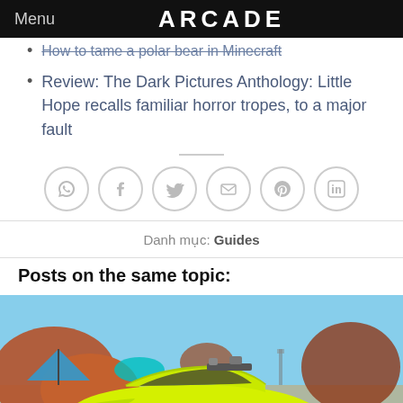Menu | ARCADE
How to tame a polar bear in Minecraft
Review: The Dark Pictures Anthology: Little Hope recalls familiar horror tropes, to a major fault
[Figure (infographic): Social share icons: WhatsApp, Facebook, Twitter, Email, Pinterest, LinkedIn — circular outlined buttons]
Danh mục: Guides
Posts on the same topic:
[Figure (photo): A yellow sports car in a colorful outdoor scene with blue sky and large rock formations in the background — a video game screenshot]